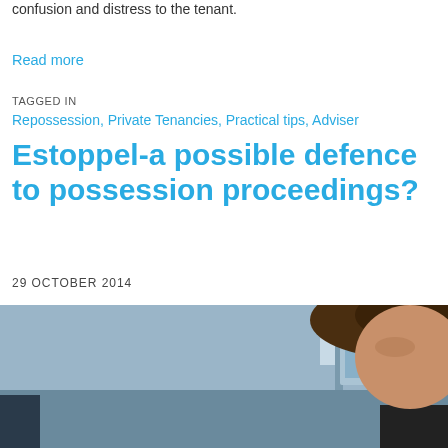confusion and distress to the tenant.
Read more
TAGGED IN
Repossession, Private Tenancies, Practical tips, Adviser
Estoppel-a possible defence to possession proceedings?
29 OCTOBER 2014
[Figure (photo): Photo of a person at a desk with office cubicle background, with a Cookie Control popup overlay and a 'Leave a message' chat bar at the bottom]